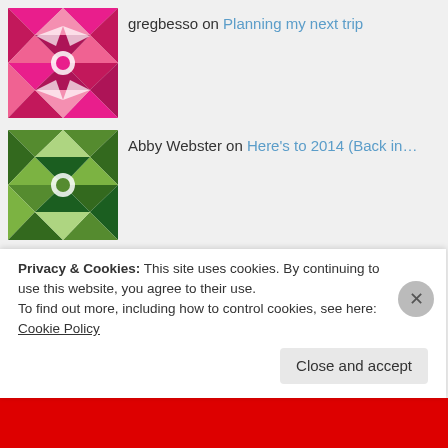gregbesso on Planning my next trip
Abby Webster on Here's to 2014 (Back in...
Alane Witt-Lajeuness... on Here's to 2014 (Back in...
John and Sara Brotma... on Here's to 2014 (Back in...
patrick on The Most Inappropriate Man in...
James and Lucie on The Most Inappropriate Man in...
Privacy & Cookies: This site uses cookies. By continuing to use this website, you agree to their use.
To find out more, including how to control cookies, see here: Cookie Policy
Close and accept